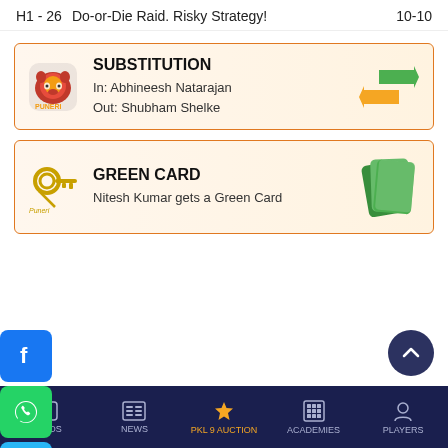H1 - 26   Do-or-Die Raid. Risky Strategy!   10-10
SUBSTITUTION
In: Abhineesh Natarajan
Out: Shubham Shelke
GREEN CARD
Nitesh Kumar gets a Green Card
VIDEOS   NEWS   PKL 9 AUCTION   ACADEMIES   PLAYERS